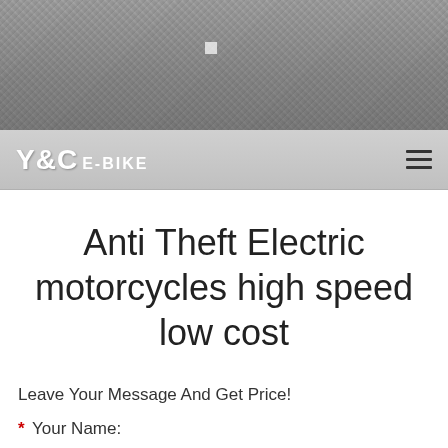[Figure (photo): Hero banner image with a dark textured stone/gravel background in grayscale]
Y&C E-BIKE
Anti Theft Electric motorcycles high speed low cost
Leave Your Message And Get Price!
* Your Name: